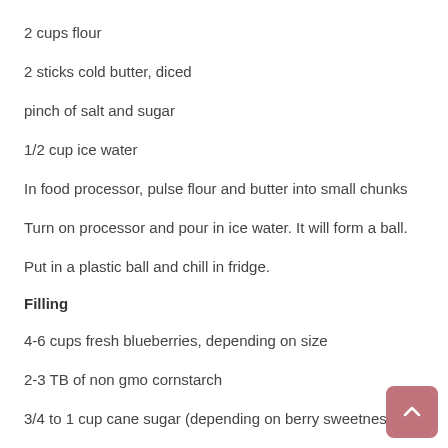2 cups flour
2 sticks cold butter, diced
pinch of salt and sugar
1/2 cup ice water
In food processor, pulse flour and butter into small chunks
Turn on processor and pour in ice water. It will form a ball.
Put in a plastic ball and chill in fridge.
Filling
4-6 cups fresh blueberries, depending on size
2-3 TB of non gmo cornstarch
3/4 to 1 cup cane sugar (depending on berry sweetness)